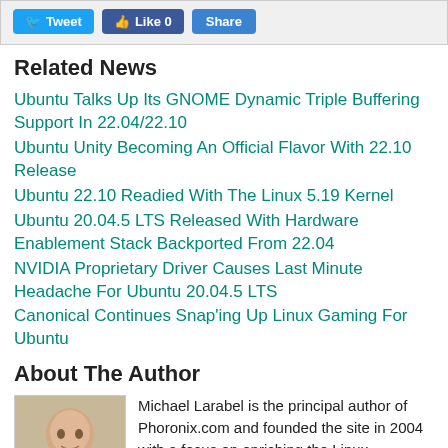[Figure (screenshot): Social media buttons: Tweet (Twitter), Like 0 (Facebook), Share]
Related News
Ubuntu Talks Up Its GNOME Dynamic Triple Buffering Support In 22.04/22.10
Ubuntu Unity Becoming An Official Flavor With 22.10 Release
Ubuntu 22.10 Readied With The Linux 5.19 Kernel
Ubuntu 20.04.5 LTS Released With Hardware Enablement Stack Backported From 22.04
NVIDIA Proprietary Driver Causes Last Minute Headache For Ubuntu 20.04.5 LTS
Canonical Continues Snap'ing Up Linux Gaming For Ubuntu
About The Author
[Figure (photo): Photo of Michael Larabel]
Michael Larabel is the principal author of Phoronix.com and founded the site in 2004 with a focus on enriching the Linux